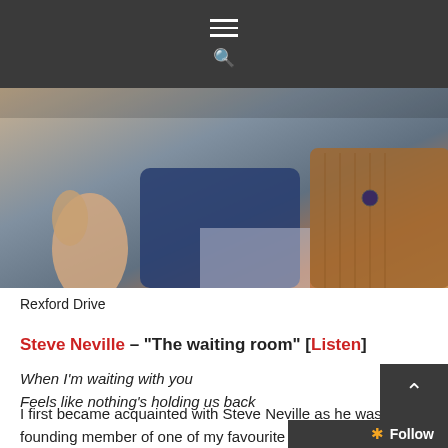Navigation menu and search icon
[Figure (photo): Close-up photo of people, partially visible — one person in a blue jacket gesturing with hand, another in a tan/brown corduroy jacket]
Rexford Drive
Steve Neville – "The waiting room" [Listen]
When I'm waiting with you
Feels like nothing's holding us back
I first became acquainted with Steve Neville as he was a founding member of one of my favourite Canadian acts over the years, The Balconies. This year, Steve was tragically diagnosed with leukemia, forcing him to be hospitalized. He fought for his life in ICU, went through chemotherapy, and received a stem cell transplant. S[teve] shared that while fighting cancer in the hospital, he [began] writing, and that music really helped him to get thr[ough]